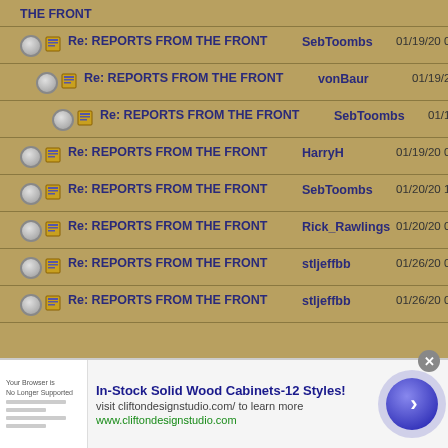THE FRONT
Re: REPORTS FROM THE FRONT | SebToombs | 01/19/20 03:12 PM
Re: REPORTS FROM THE FRONT | vonBaur | 01/19/20 04:22 PM
Re: REPORTS FROM THE FRONT | SebToombs | 01/19/20 05:28 PM
Re: REPORTS FROM THE FRONT | HarryH | 01/19/20 07:06 PM
Re: REPORTS FROM THE FRONT | SebToombs | 01/20/20 12:49 PM
Re: REPORTS FROM THE FRONT | Rick_Rawlings | 01/20/20 09:15 PM
Re: REPORTS FROM THE FRONT | stljeffbb | 01/26/20 07:23 PM
Re: REPORTS FROM THE FRONT | stljeffbb | 01/26/20 09:00 PM
[Figure (screenshot): Advertisement banner for In-Stock Solid Wood Cabinets-12 Styles at cliftondesignstudio.com with browser icon, text, green URL, and blue arrow button with close X]